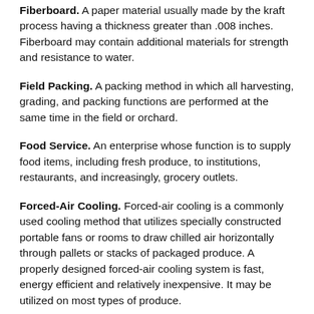Fiberboard. A paper material usually made by the kraft process having a thickness greater than .008 inches. Fiberboard may contain additional materials for strength and resistance to water.
Field Packing. A packing method in which all harvesting, grading, and packing functions are performed at the same time in the field or orchard.
Food Service. An enterprise whose function is to supply food items, including fresh produce, to institutions, restaurants, and increasingly, grocery outlets.
Forced-Air Cooling. Forced-air cooling is a commonly used cooling method that utilizes specially constructed portable fans or rooms to draw chilled air horizontally through pallets or stacks of packaged produce. A properly designed forced-air cooling system is fast, energy efficient and relatively inexpensive. It may be utilized on most types of produce.